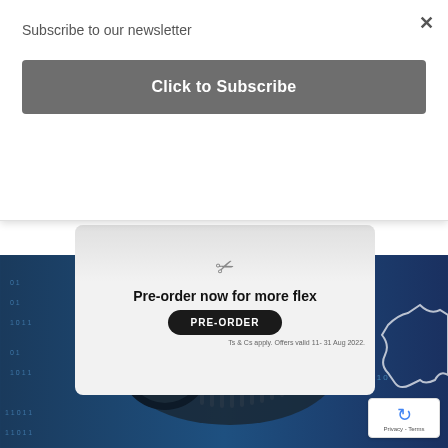Subscribe to our newsletter
Click to Subscribe
[Figure (screenshot): Advertisement banner showing scissors icon, text 'Pre-order now for more flex', a PRE-ORDER button, and footer text 'Ts & Cs apply. Offers valid 11- 31 Aug 2022.']
[Figure (photo): Blue-tinted photo of a security surveillance camera with binary code digits overlaid, suggesting cybersecurity or digital surveillance theme.]
[Figure (logo): reCAPTCHA badge with blue icon and 'Privacy - Terms' text]